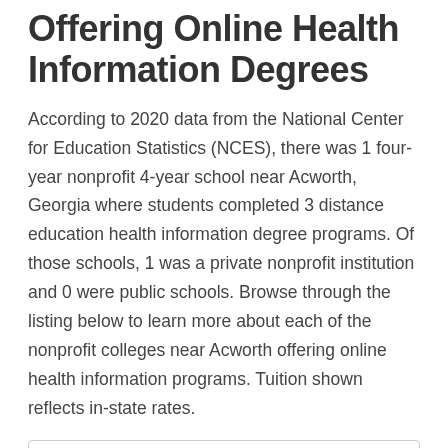Offering Online Health Information Degrees
According to 2020 data from the National Center for Education Statistics (NCES), there was 1 four-year nonprofit 4-year school near Acworth, Georgia where students completed 3 distance education health information degree programs. Of those schools, 1 was a private nonprofit institution and 0 were public schools. Browse through the listing below to learn more about each of the nonprofit colleges near Acworth offering online health information programs. Tuition shown reflects in-state rates.
| Franklin University |
| --- |
| STUDENT AGE: Adult | ONLINE: All | + |